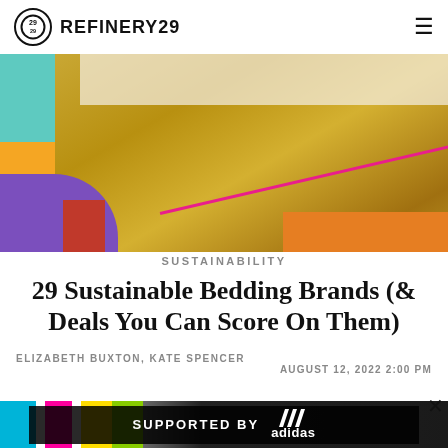REFINERY29
[Figure (photo): Hero image of sustainable bedding with orange/gold duvet on a bed, overlaid with colorful geometric blocks (teal, purple, orange) and a diagonal pink line]
SUSTAINABILITY
29 Sustainable Bedding Brands (& Deals You Can Score On Them)
ELIZABETH BUXTON, KATE SPENCER
AUGUST 12, 2022 2:00 PM
[Figure (infographic): Advertisement banner: SUPPORTED BY adidas, with colorful background and adidas logo]